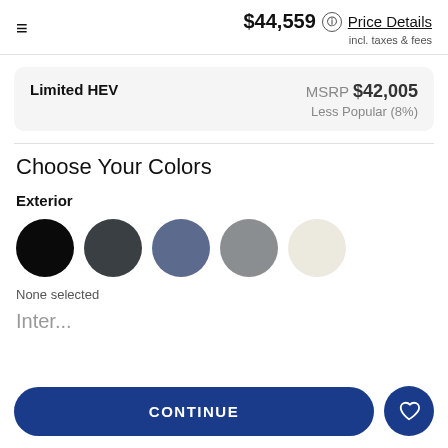$44,559 Price Details incl. taxes & fees
Limited HEV MSRP $42,005 Less Popular (8%)
Choose Your Colors
Exterior
[Figure (illustration): Five circular color swatches: black, dark gray, blue-gray, medium gray, cream/off-white]
None selected
Inter...
CONTINUE